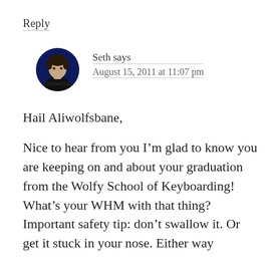Reply
[Figure (photo): Circular avatar photo of Seth, a young man with short dark hair wearing a black t-shirt against a dark blue background]
Seth says
August 15, 2011 at 11:07 pm
Hail Aliwolfsbane,
Nice to hear from you I’m glad to know you are keeping on and about your graduation from the Wolfy School of Keyboarding! What’s your WHM with that thing? Important safety tip: don’t swallow it. Or get it stuck in your nose. Either way